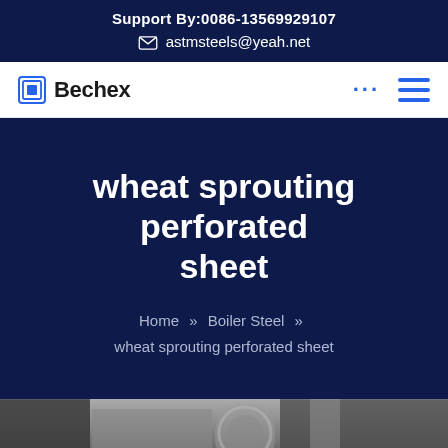Support By:0086-13569929107
astmsteels@yeah.net
Bechex
wheat sprouting perforated sheet
Home » Boiler Steel » wheat sprouting perforated sheet
[Figure (photo): Industrial/steel product photo strip at bottom of page]